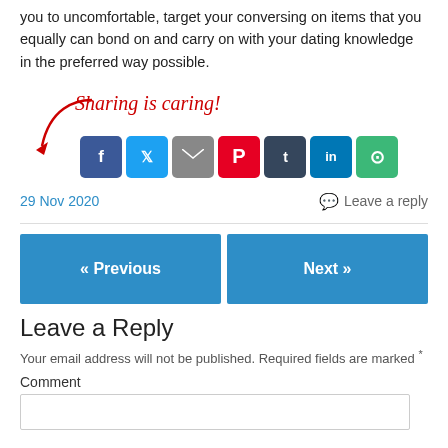you to uncomfortable, target your conversing on items that you equally can bond on and carry on with your dating knowledge in the preferred way possible.
[Figure (infographic): Sharing is caring! section with a red arrow pointing to social share icons for Facebook, Twitter, Email, Pinterest, Tumblr, LinkedIn, and More Options, with handwritten-style red text.]
29 Nov 2020    Leave a reply
« Previous    Next »
Leave a Reply
Your email address will not be published. Required fields are marked *
Comment